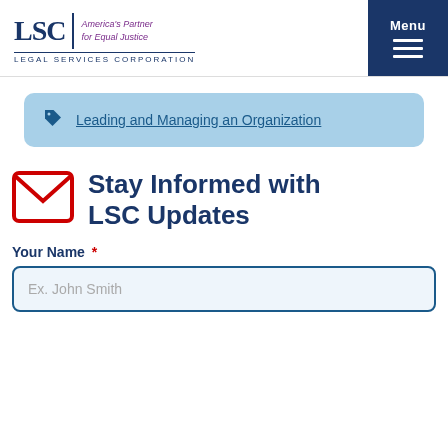LSC | America's Partner for Equal Justice | LEGAL SERVICES CORPORATION
Leading and Managing an Organization
Stay Informed with LSC Updates
Your Name *
Ex. John Smith